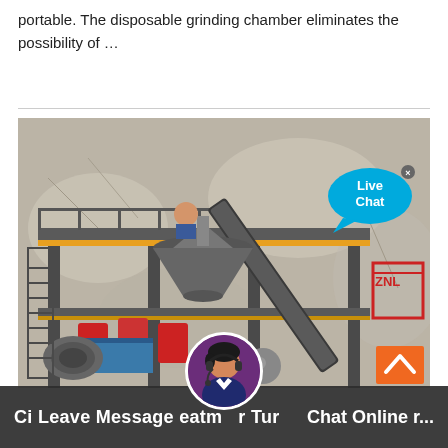portable. The disposable grinding chamber eliminates the possibility of …
[Figure (photo): Outdoor industrial rock crushing / cone crusher plant on a steel elevated platform structure with stairs and conveyor belts, set against a rocky quarry background. A 'Live Chat' speech bubble overlay is visible in the upper right corner, and a scroll-to-top orange button in the lower right.]
Ci Leave Message eatm r Tur Chat Online r...